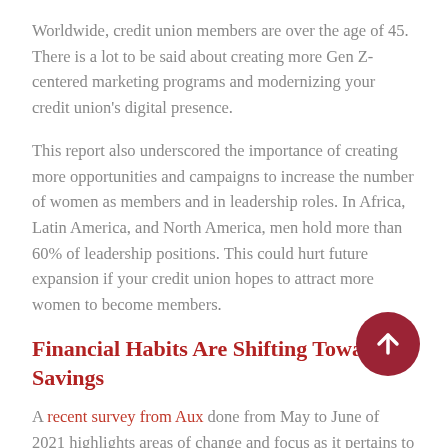Worldwide, credit union members are over the age of 45. There is a lot to be said about creating more Gen Z-centered marketing programs and modernizing your credit union's digital presence.
This report also underscored the importance of creating more opportunities and campaigns to increase the number of women as members and in leadership roles. In Africa, Latin America, and North America, men hold more than 60% of leadership positions. This could hurt future expansion if your credit union hopes to attract more women to become members.
Financial Habits Are Shifting Towards Savings
A recent survey from Aux done from May to June of 2021 highlights areas of change and focus as it pertains to post-COVID member habits and feelings.